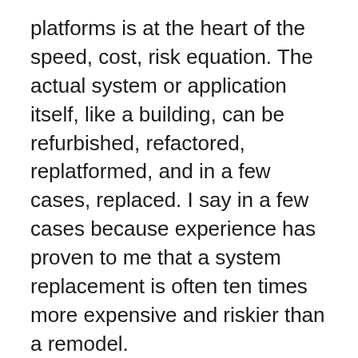platforms is at the heart of the speed, cost, risk equation. The actual system or application itself, like a building, can be refurbished, refactored, replatformed, and in a few cases, replaced. I say in a few cases because experience has proven to me that a system replacement is often ten times more expensive and riskier than a remodel.
Find a way to explain this, possibly using this idea of a city and urban renewal, to your business partners and executives to help them understand where the investment focus should really be. Developing a plan for this can be done with the same “Go Short”(-Term) and “Go Long”(-